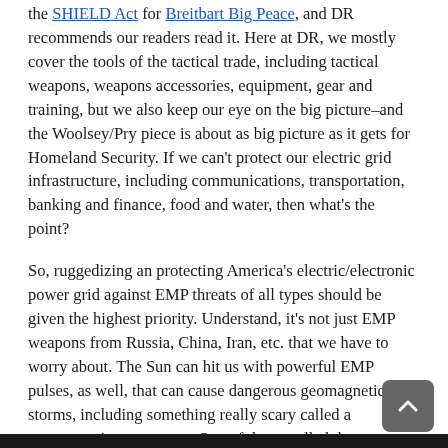the SHIELD Act for Breitbart Big Peace, and DR recommends our readers read it. Here at DR, we mostly cover the tools of the tactical trade, including tactical weapons, weapons accessories, equipment, gear and training, but we also keep our eye on the big picture–and the Woolsey/Pry piece is about as big picture as it gets for Homeland Security. If we can't protect our electric grid infrastructure, including communications, transportation, banking and finance, food and water, then what's the point?
So, ruggedizing an protecting America's electric/electronic power grid against EMP threats of all types should be given the highest priority. Understand, it's not just EMP weapons from Russia, China, Iran, etc. that we have to worry about. The Sun can hit us with powerful EMP pulses, as well, that can cause dangerous geomagnetic storms, including something really scary called a geomagnetic superstorm. One of these, called the Carrington Event, occured in 1859, and it was anything but pleasant. But here's the line that scared the shit out of us here at DR:
Another Carrington Event that would collapse life-sustaining electric